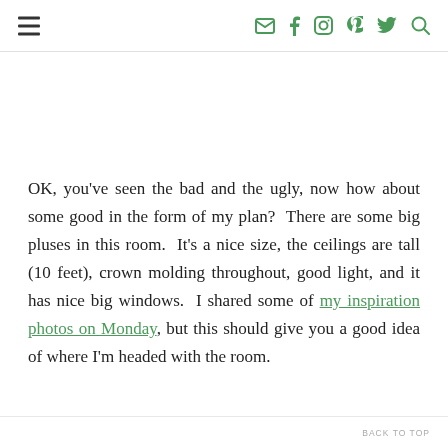[hamburger menu icon] [email icon] [facebook icon] [instagram icon] [pinterest icon] [twitter icon] [search icon]
OK, you've seen the bad and the ugly, now how about some good in the form of my plan?  There are some big pluses in this room.  It's a nice size, the ceilings are tall (10 feet), crown molding throughout, good light, and it has nice big windows.  I shared some of my inspiration photos on Monday, but this should give you a good idea of where I'm headed with the room.
BACK TO TOP